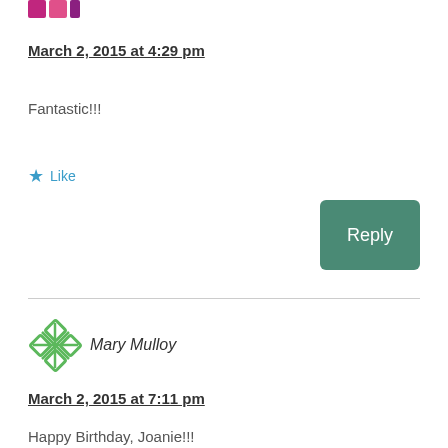[Figure (logo): Partial colored logo/icon in pink and magenta at top left]
March 2, 2015 at 4:29 pm
Fantastic!!!
★ Like
Reply
[Figure (logo): Green geometric snowflake/asterisk avatar icon for Mary Mulloy]
Mary Mulloy
March 2, 2015 at 7:11 pm
Happy Birthday, Joanie!!!